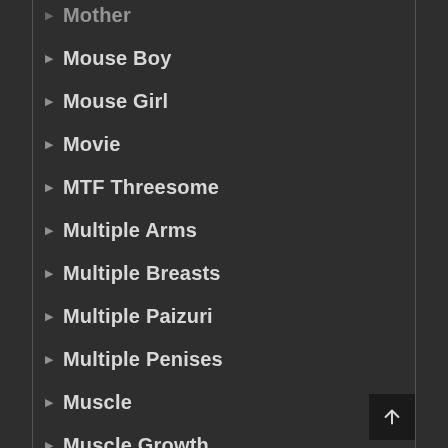Mother
Mouse Boy
Mouse Girl
Movie
MTF Threesome
Multiple Arms
Multiple Breasts
Multiple Paizuri
Multiple Penises
Muscle
Muscle Growth
Mystery
Nakadashi
Nari...